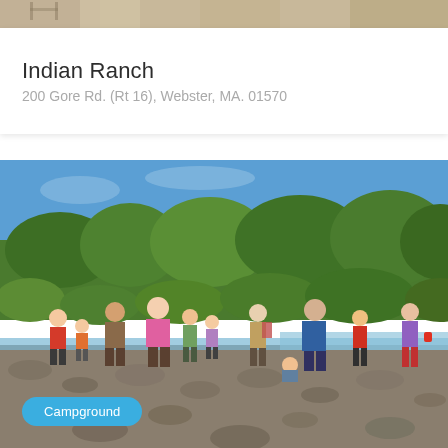[Figure (photo): Top partial strip of an outdoor photo, showing the bottom edge of a campground or ranch scene]
Indian Ranch
200 Gore Rd. (Rt 16), Webster, MA. 01570
[Figure (photo): Group of adults and children standing on a rocky riverbank, playing near shallow water, surrounded by lush green trees and a clear blue sky. A 'Campground' badge label overlays the bottom-left of the photo.]